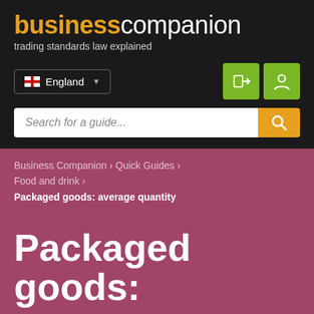businesscompanion - trading standards law explained
England (region selector)
Search for a guide...
Business Companion › Quick Guides › Food and drink › Packaged goods: average quantity
Packaged goods: average quantity